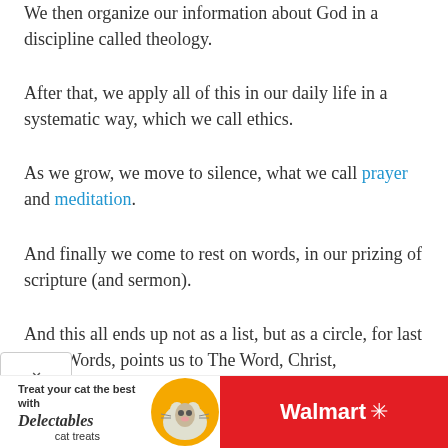We then organize our information about God in a discipline called theology.
After that, we apply all of this in our daily life in a systematic way, which we call ethics.
As we grow, we move to silence, what we call prayer and meditation.
And finally we come to rest on words, in our prizing of scripture (and sermon).
And this all ends up not as a list, but as a circle, for last item, Words, points us to The Word, Christ,
[Figure (other): Walmart advertisement banner: 'Treat your cat the best with Delectables cat treats' with a cat image and Walmart logo on red background]